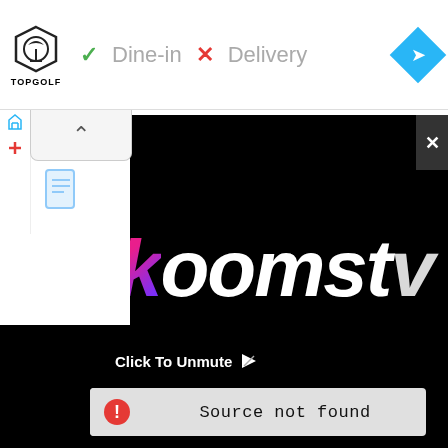[Figure (screenshot): Top navigation bar with Topgolf logo, Dine-in (checkmark) and Delivery (X) labels, and a blue diamond navigation icon]
[Figure (screenshot): Partially visible advertisement for 'Koomstu' with colorful italic text on black background, up-chevron panel, and document icon]
[Figure (screenshot): Black video player panel with 'Click To Unmute' label and a 'Source not found' error bar with red error icon]